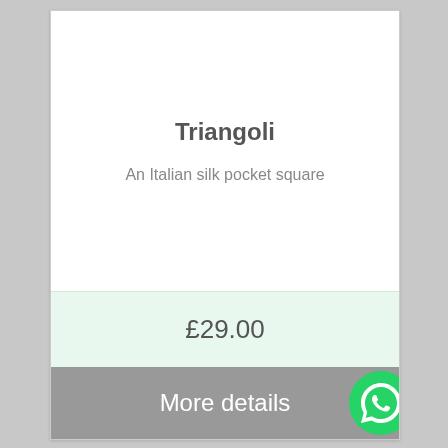Triangoli
An Italian silk pocket square
£29.00
More details